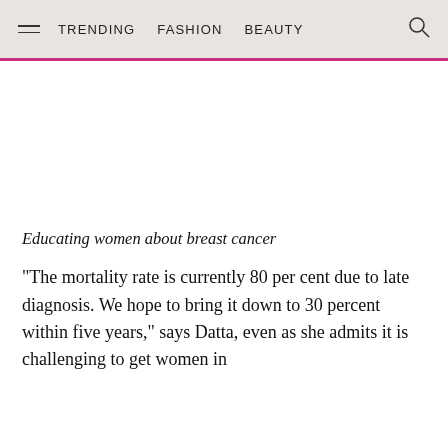TRENDING   FASHION   BEAUTY
[Figure (photo): Image area placeholder (white space for a breast cancer awareness photo)]
Educating women about breast cancer
“The mortality rate is currently 80 per cent due to late diagnosis. We hope to bring it down to 30 percent within five years,” says Datta, even as she admits it is challenging to get women in